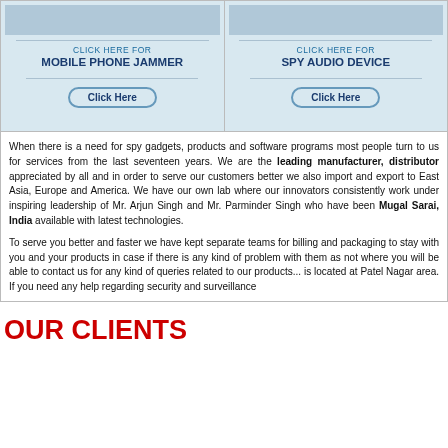[Figure (other): Advertisement box for Mobile Phone Jammer with 'Click Here For' heading and Click Here button]
[Figure (other): Advertisement box for Spy Audio Device with 'Click Here For' heading and Click Here button]
When there is a need for spy gadgets, products and software programs most people turn to us for services from the last seventeen years. We are the leading manufacturer, distributor... appreciated by all and in order to serve our customers better we also import and export to Middle East Asia, Europe and America. We have our own lab where our innovators consistently work under inspiring leadership of Mr. Arjun Singh and Mr. Parminder Singh who have been... Mugal Sarai, India available with latest technologies.
To serve you better and faster we have kept separate teams for billing and packaging to stay with you and your products in case if there is any kind of problem with them as no... where you will be able to contact us for any kind of queries related to our products... is located at Patel Nagar area. If you need any help regarding security and surveilla...
OUR CLIENTS